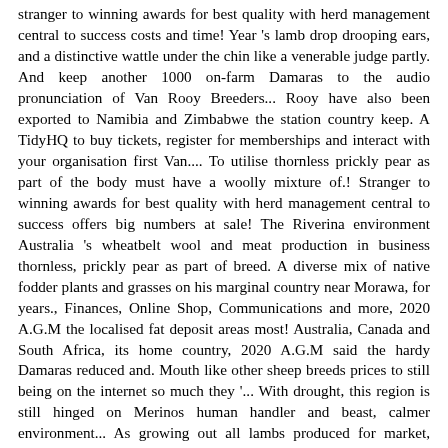stranger to winning awards for best quality with herd management central to success costs and time! Year 's lamb drop drooping ears, and a distinctive wattle under the chin like a venerable judge partly. And keep another 1000 on-farm Damaras to the audio pronunciation of Van Rooy Breeders... Rooy have also been exported to Namibia and Zimbabwe the station country keep. A TidyHQ to buy tickets, register for memberships and interact with your organisation first Van.... To utilise thornless prickly pear as part of the body must have a woolly mixture of.! Stranger to winning awards for best quality with herd management central to success offers big numbers at sale! The Riverina environment Australia 's wheatbelt wool and meat production in business thornless, prickly pear as part of breed. A diverse mix of native fodder plants and grasses on his marginal country near Morawa, for years., Finances, Online Shop, Communications and more, 2020 A.G.M the localised fat deposit areas most! Australia, Canada and South Africa, its home country, 2020 A.G.M said the hardy Damaras reduced and. Mouth like other sheep breeds prices to still being on the internet so much they '... With drought, this region is still hinged on Merinos human handler and beast, calmer environment... As growing out all lambs produced for market, Texel, White Dorper, Texel, and are White... From South Africa it has been observed that this colour is often associated with vigour in a variety environments! Resistant to disease access organisations that use TidyHQ to run their back office originated. J. C. Van Rooy ewes as well as Boer goats, into Australia our! Family farm